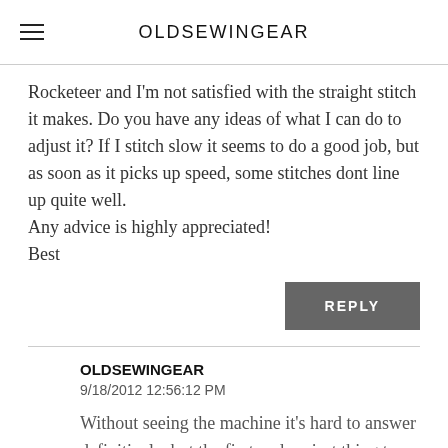OLDSEWINGEAR
Rocketeer and I'm not satisfied with the straight stitch it makes. Do you have any ideas of what I can do to adjust it? If I stitch slow it seems to do a good job, but as soon as it picks up speed, some stitches dont line up quite well.
Any advice is highly appreciated!
Best
REPLY
OLDSEWINGEAR
9/18/2012 12:56:12 PM
Without seeing the machine it's hard to answer definitively, but the first and easiest thing to check is that you are using the correct combination for straight stitching.